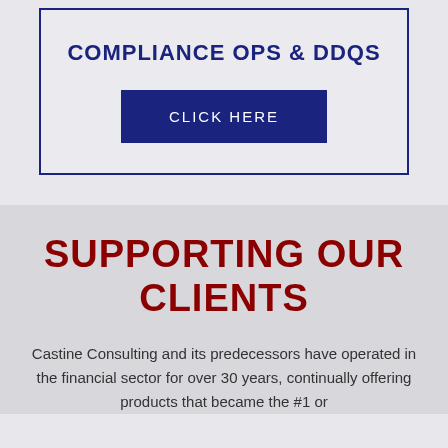COMPLIANCE OPS & DDQS
CLICK HERE
SUPPORTING OUR CLIENTS
Castine Consulting and its predecessors have operated in the financial sector for over 30 years, continually offering products that became the #1 or